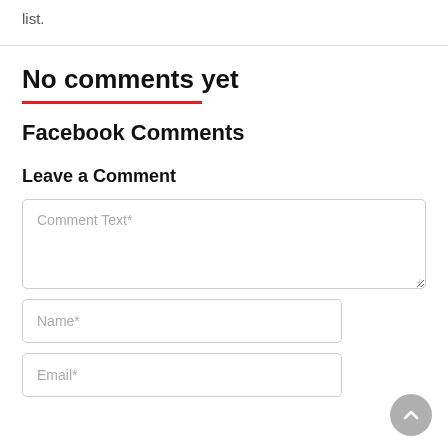list.
No comments yet
Facebook Comments
Leave a Comment
Comment Text*
Name*
Email*